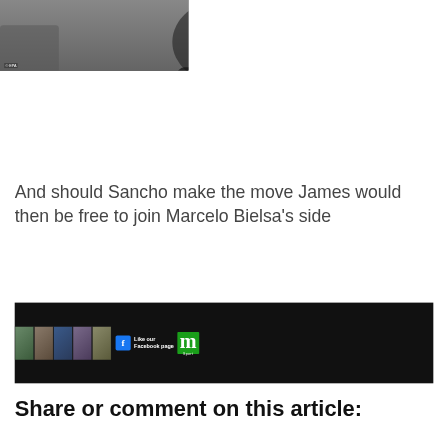[Figure (photo): Photo of a man in a black puffer jacket gesturing with hands, blurred background. EPA watermark in lower left.]
And should Sancho make the move James would then be free to join Marcelo Bielsa's side
[Figure (infographic): Facebook 'Like our Facebook page' banner with collage of sports photos and Daily Mail Sport 'm' logo on dark background.]
Share or comment on this article:
Source link
You might also like